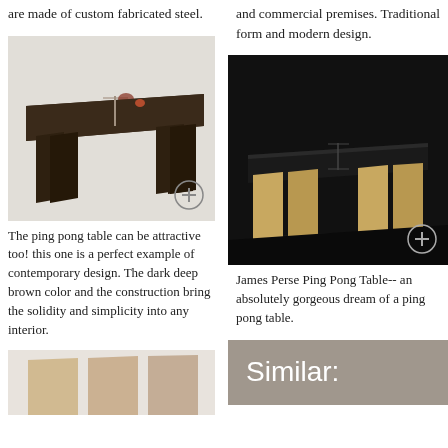are made of custom fabricated steel.
and commercial premises. Traditional form and modern design.
[Figure (photo): Dark brown contemporary ping pong table with solid construction on white background, with a plus/expand icon in lower right]
[Figure (photo): James Perse Ping Pong Table on dark background — a luxury wooden ping pong table with black top, with a plus/expand icon in lower right]
The ping pong table can be attractive too! this one is a perfect example of contemporary design. The dark deep brown color and the construction bring the solidity and simplicity into any interior.
James Perse Ping Pong Table-- an absolutely gorgeous dream of a ping pong table.
[Figure (photo): Partial view of another ping pong table at the bottom left, partially cut off]
Similar: